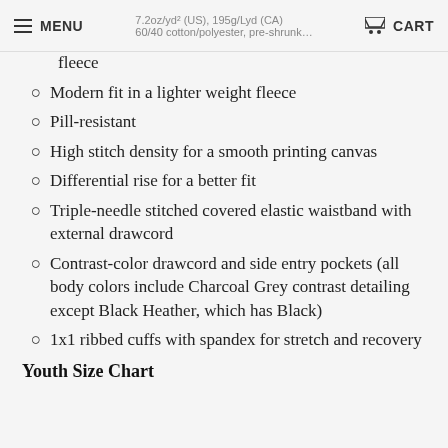MENU | [url partial] 7.2oz/yd² (US), 195g/Lyd (CA) 60/40 cotton/polyester, pre-shrunk fleece | CART
fleece
Modern fit in a lighter weight fleece
Pill-resistant
High stitch density for a smooth printing canvas
Differential rise for a better fit
Triple-needle stitched covered elastic waistband with external drawcord
Contrast-color drawcord and side entry pockets (all body colors include Charcoal Grey contrast detailing except Black Heather, which has Black)
1x1 ribbed cuffs with spandex for stretch and recovery
Youth Size Chart